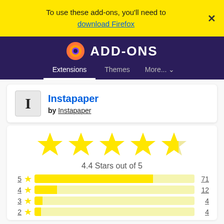To use these add-ons, you'll need to download Firefox
[Figure (screenshot): Firefox Add-ons navigation header with logo, Extensions, Themes, More tabs]
Instapaper by Instapaper
[Figure (other): 4.4 Stars out of 5 star rating display with 5 yellow stars (last one partial)]
4.4 Stars out of 5
| Stars | Bar | Count |
| --- | --- | --- |
| 5 |  | 71 |
| 4 |  | 12 |
| 3 |  | 4 |
| 2 |  | 4 |